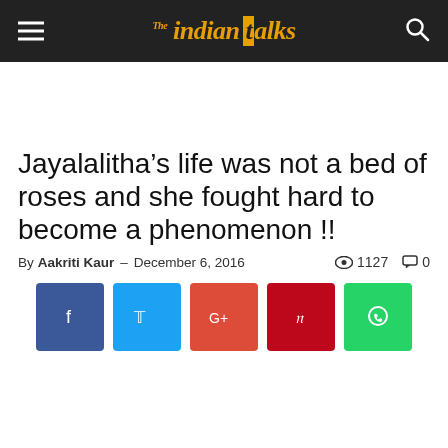The Indian Talks
Jayalalitha’s life was not a bed of roses and she fought hard to become a phenomenon !!
By Aakriti Kaur – December 6, 2016   1127   0
[Figure (infographic): Social media share buttons: Facebook (blue), Twitter (cyan), Google+ (red-orange), Pinterest (dark red), WhatsApp (green)]